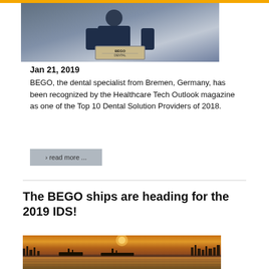[Figure (photo): Man in dark suit holding a framed BEGO Dental certificate/award]
Jan 21, 2019
BEGO, the dental specialist from Bremen, Germany, has been recognized by the Healthcare Tech Outlook magazine as one of the Top 10 Dental Solution Providers of 2018.
› read more ...
The BEGO ships are heading for the 2019 IDS!
[Figure (photo): Sunset/dusk photo of ships or boats on a river with orange-golden light reflecting on the water]